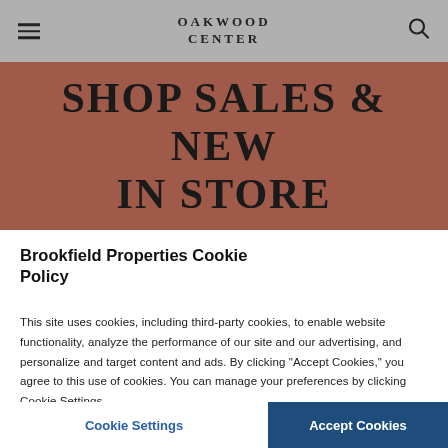OAKWOOD CENTER
SHOP SALES & NEW IN STORE
Brookfield Properties Cookie Policy
This site uses cookies, including third-party cookies, to enable website functionality, analyze the performance of our site and our advertising, and personalize and target content and ads. By clicking “Accept Cookies,” you agree to this use of cookies. You can manage your preferences by clicking Cookie Settings.
Cookie Settings | Accept Cookies